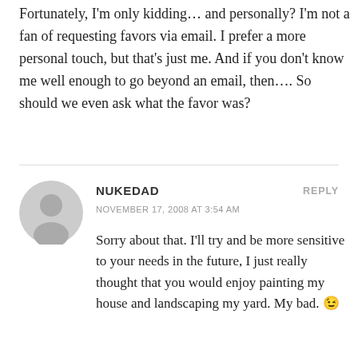Fortunately, I'm only kidding… and personally? I'm not a fan of requesting favors via email. I prefer a more personal touch, but that's just me. And if you don't know me well enough to go beyond an email, then…. So should we even ask what the favor was?
NUKEDAD
NOVEMBER 17, 2008 AT 3:54 AM
Sorry about that. I'll try and be more sensitive to your needs in the future, I just really thought that you would enjoy painting my house and landscaping my yard. My bad. 😉